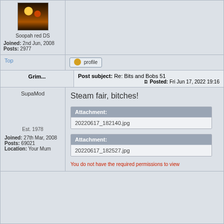[Figure (photo): User avatar image showing a stylized game character with fire/orange tones]
Soopah red DS
Joined: 2nd Jun, 2008
Posts: 2977
Top
profile
Grim...
Post subject: Re: Bits and Bobs 51
Posted: Fri Jun 17, 2022 19:16
SupaMod
Steam fair, bitches!
Attachment:
20220617_182140.jpg
Est. 1978
Joined: 27th Mar, 2008
Posts: 69021
Location: Your Mum
Attachment:
20220617_182527.jpg
You do not have the required permissions to view